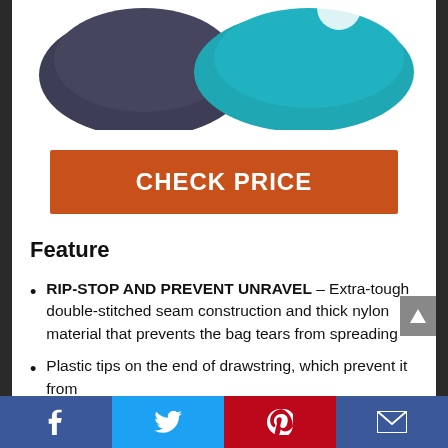[Figure (photo): Two bags side by side — one dark navy/charcoal and one teal/turquoise, partially visible at top of the page]
CHECK PRICE
Feature
RIP-STOP AND PREVENT UNRAVEL – Extra-tough double-stitched seam construction and thick nylon material that prevents the bag tears from spreading
Plastic tips on the end of drawstring, which prevent it from
Facebook | Twitter | Pinterest | Email